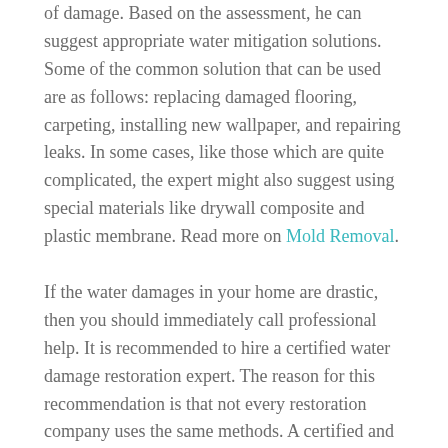of damage. Based on the assessment, he can suggest appropriate water mitigation solutions. Some of the common solution that can be used are as follows: replacing damaged flooring, carpeting, installing new wallpaper, and repairing leaks. In some cases, like those which are quite complicated, the expert might also suggest using special materials like drywall composite and plastic membrane. Read more on Mold Removal.
If the water damages in your home are drastic, then you should immediately call professional help. It is recommended to hire a certified water damage restoration expert. The reason for this recommendation is that not every restoration company uses the same methods. A certified and specialized company can make use of different